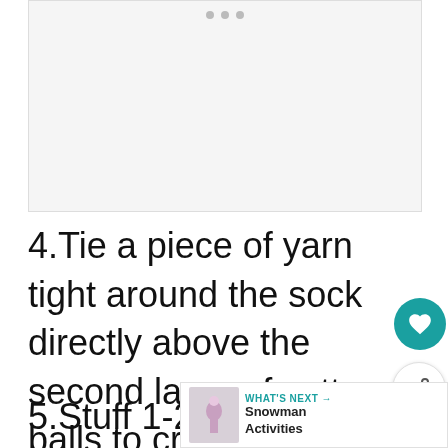[Figure (photo): Blank/placeholder image area for a craft activity photo]
4.Tie a piece of yarn tight around the sock directly above the second layer of cotton balls to create the middle snowball of the snowman.
5.Stuff 1-2 cotton balls into the sock to create the snowman's head. Smooth out